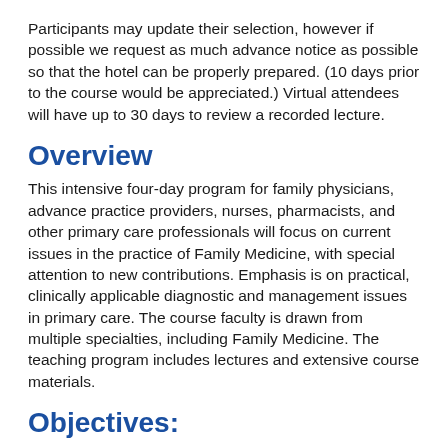Participants may update their selection, however if possible we request as much advance notice as possible so that the hotel can be properly prepared. (10 days prior to the course would be appreciated.)  Virtual attendees will have up to 30 days to review a recorded lecture.
Overview
This intensive four-day program for family physicians, advance practice providers, nurses, pharmacists, and other primary care professionals will focus on current issues in the practice of Family Medicine, with special attention to new contributions. Emphasis is on practical, clinically applicable diagnostic and management issues in primary care. The course faculty is drawn from multiple specialties, including Family Medicine. The teaching program includes lectures and extensive course materials.
Objectives:
1.  Review current recommendations for Genomics Testing, Parkinson's Disease, New Diagnosis of Hypothyroidism, Headache Management and Valvular Heart Disease
2.  Discuss important updates for the management of Type 2 Diabetes, HPV Disease, Bipolar Disease and Endometrial